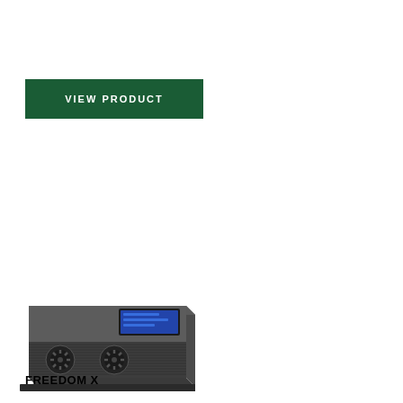[Figure (other): Green 'VIEW PRODUCT' button with white uppercase text on dark green background]
[Figure (photo): Photo of a Freedom X inverter/charger device — a dark grey rectangular box with two cooling fans on the front and a blue LCD display panel]
FREEDOM X